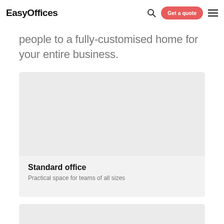EasyOffices
people to a fully-customised home for your entire business.
[Figure (photo): Light grey placeholder image for Standard office card]
Standard office
Practical space for teams of all sizes
[Figure (photo): Partially visible second card image at the bottom of the page]